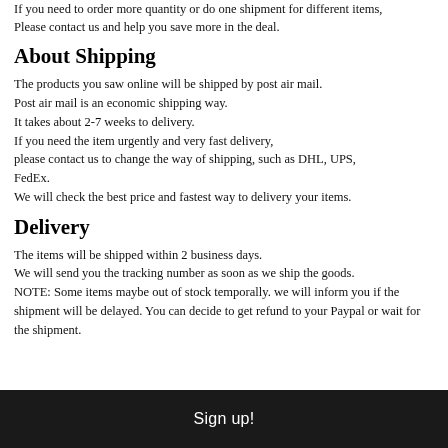If you need to order more quantity or do one shipment for different items, Please contact us and help you save more in the deal.
About Shipping
The products you saw online will be shipped by post air mail.
Post air mail is an economic shipping way.
It takes about 2-7 weeks to delivery.
If you need the item urgently and very fast delivery,
please contact us to change the way of shipping, such as DHL, UPS, FedEx.
We will check the best price and fastest way to delivery your items.
Delivery
The items will be shipped within 2 business days.
We will send you the tracking number as soon as we ship the goods.
NOTE: Some items maybe out of stock temporally. we will inform you if the shipment will be delayed. You can decide to get refund to your Paypal or wait for the shipment.
Sign up!